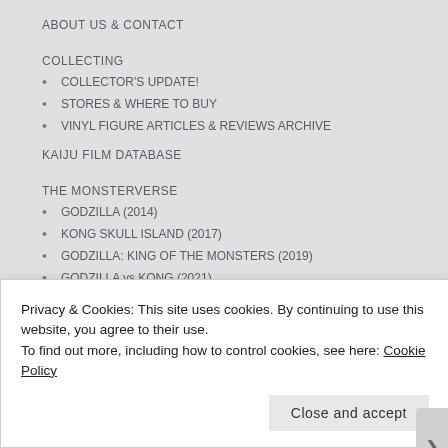ABOUT US & CONTACT
COLLECTING
COLLECTOR'S UPDATE!
STORES & WHERE TO BUY
VINYL FIGURE ARTICLES & REVIEWS ARCHIVE
KAIJU FILM DATABASE
THE MONSTERVERSE
GODZILLA (2014)
KONG SKULL ISLAND (2017)
GODZILLA: KING OF THE MONSTERS (2019)
GODZILLA vs KONG (2021)
Privacy & Cookies: This site uses cookies. By continuing to use this website, you agree to their use.
To find out more, including how to control cookies, see here: Cookie Policy